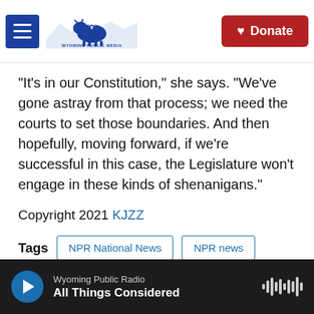[Figure (logo): Wyoming Public Media logo with bison and mountain silhouette, hamburger menu button on left, Donate button on right]
"It's in our Constitution," she says. "We've gone astray from that process; we need the courts to set those boundaries. And then hopefully, moving forward, if we're successful in this case, the Legislature won't engage in these kinds of shenanigans."
Copyright 2021 KJZZ
Tags   NPR National News   NPR news
[Figure (screenshot): Social sharing buttons: Facebook, Twitter, LinkedIn, Email, Flipboard]
Wyoming Public Radio — All Things Considered